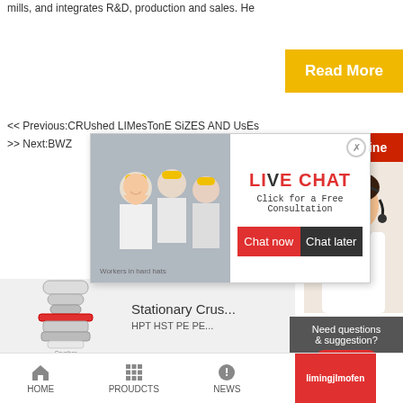mills, and integrates R&D, production and sales. He
[Figure (screenshot): Yellow 'Read More' button on right side]
<< Previous:CRUshed LIMesTonE SiZES AND UsEs
>> Next:BWZ
[Figure (screenshot): Live Chat popup with workers in hard hats, LIVE CHAT title, 'Click for a Free Consultation' text, Chat now and Chat later buttons]
24Hrs Online
[Figure (photo): Customer service representative with headset]
[Figure (photo): Stationary crusher machinery product image]
Stationary Crus...
Need questions & suggestion?
Chat Now
Enquiry
limingjlmofen
HOME
PROUDCTS
NEWS